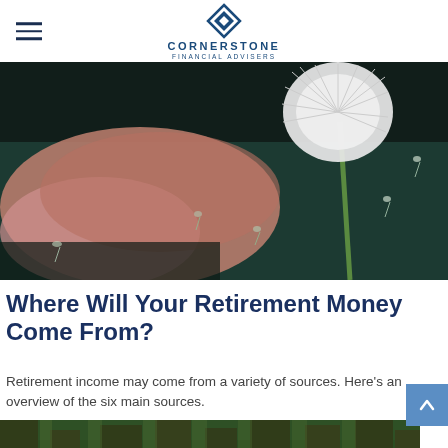Cornerstone Financial Advisers
[Figure (photo): Close-up photo of a person blowing dandelion seeds against a dark green background, with seeds floating in the air]
Where Will Your Retirement Money Come From?
Retirement income may come from a variety of sources. Here's an overview of the six main sources.
[Figure (photo): Photo of tall redwood trees in a forest]